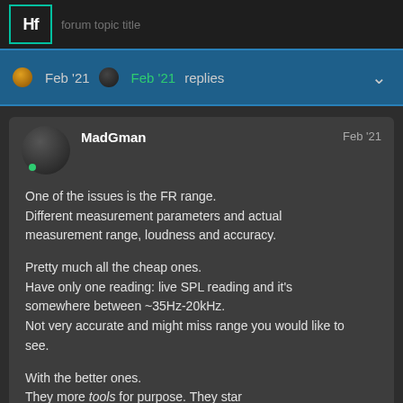HF [forum header bar]
Feb '21  Feb '21  replies
MadGman  Feb '21
One of the issues is the FR range.
Different measurement parameters and actual measurement range, loudness and accuracy.

Pretty much all the cheap ones.
Have only one reading: live SPL reading and it's somewhere between ~35Hz-20kHz.
Not very accurate and might miss range you would like to see.

With the better ones.
They more tools for purpose. They start accurate, standardized and with many m... 1/5